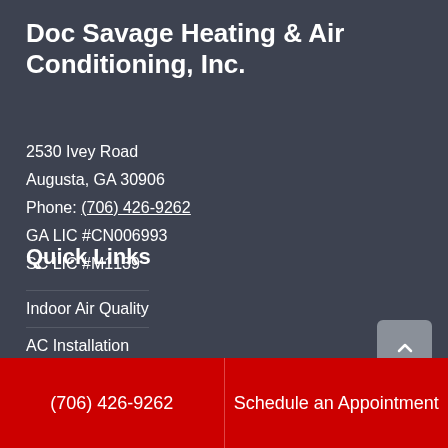Doc Savage Heating & Air Conditioning, Inc.
2530 Ivey Road
Augusta, GA 30906
Phone: (706) 426-9262
GA LIC #CN006993
SC LIC #M1139
Quick Links
Indoor Air Quality
AC Installation
Heating
(706) 426-9262
Schedule an Appointment